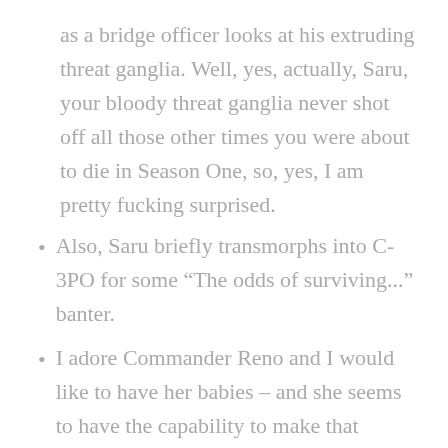as a bridge officer looks at his extruding threat ganglia. Well, yes, actually, Saru, your bloody threat ganglia never shot off all those other times you were about to die in Season One, so, yes, I am pretty fucking surprised.
Also, Saru briefly transmorphs into C-3PO for some “The odds of surviving...” banter.
I adore Commander Reno and I would like to have her babies – and she seems to have the capability to make that happen biologically. She had better be a